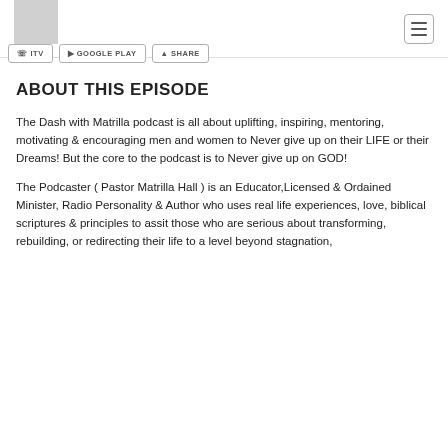Logo | ITV | GOOGLE PLAY | SHARE | Menu
ABOUT THIS EPISODE
The Dash with Matrilla podcast is all about uplifting, inspiring, mentoring, motivating & encouraging men and women to Never give up on their LIFE or their Dreams! But the core to the podcast is to Never give up on GOD!
The Podcaster ( Pastor Matrilla Hall ) is an Educator,Licensed & Ordained Minister, Radio Personality & Author who uses real life experiences, love, biblical scriptures & principles to assit those who are serious about transforming, rebuilding, or redirecting their life to a level beyond stagnation,